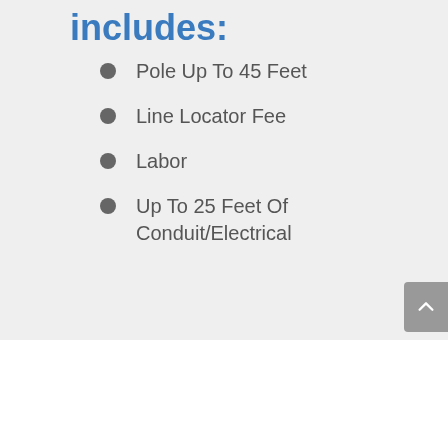includes:
Pole Up To 45 Feet
Line Locator Fee
Labor
Up To 25 Feet Of Conduit/Electrical